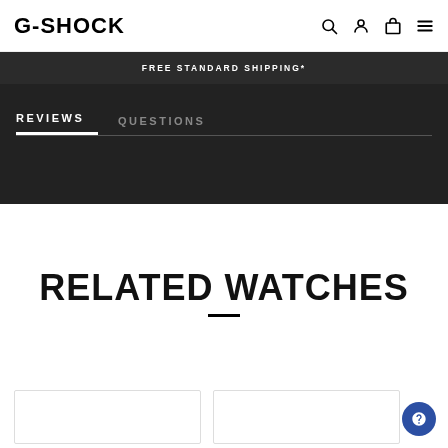G-SHOCK
FREE STANDARD SHIPPING*
REVIEWS   QUESTIONS
RELATED WATCHES